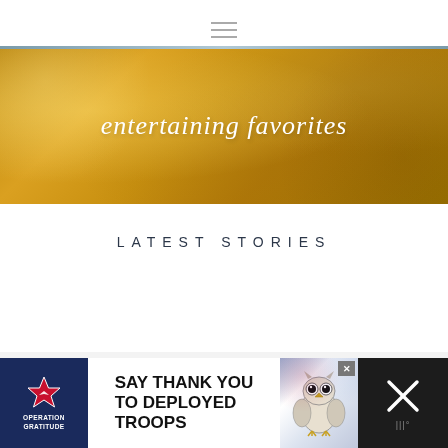[Figure (other): Hamburger/menu icon (three horizontal lines) navigation element]
[Figure (photo): Hero banner image with golden/amber color overlay showing food items with script text 'entertaining favorites' overlaid in white]
LATEST STORIES
[Figure (infographic): Advertisement banner at bottom: Operation Gratitude 'SAY THANK YOU TO DEPLOYED TROOPS' ad with patriotic imagery and owl mascot. Dark background on right side with X/close button and thermometer icon.]